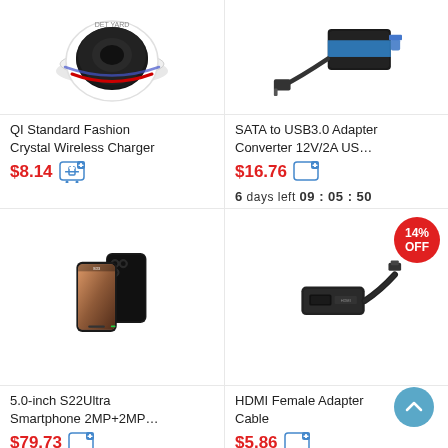[Figure (photo): QI Standard wireless charger circular device with red/blue LED ring]
QI Standard Fashion Crystal Wireless Charger
$8.14
[Figure (photo): SATA to USB3.0 adapter with cable and connectors]
SATA to USB3.0 Adapter Converter 12V/2A US...
$16.76
6 days left 09 : 05 : 50
[Figure (photo): 5.0-inch S22Ultra smartphone, black, front and back view]
5.0-inch S22Ultra Smartphone 2MP+2MP...
$79.73
[Figure (photo): HDMI Female Adapter Cable, black micro USB to HDMI adapter]
HDMI Female Adapter Cable
$5.86
6 days left 09 : 05 : 50